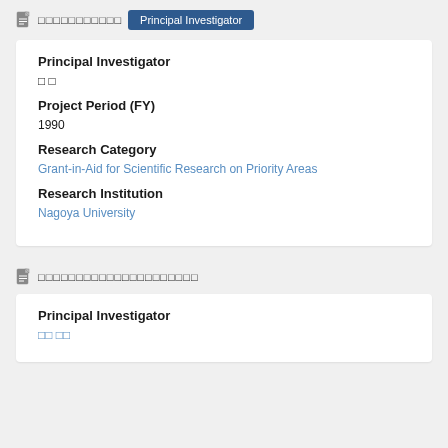□□□□□□□□□□□ Principal Investigator
Principal Investigator
□ □
Project Period (FY)
1990
Research Category
Grant-in-Aid for Scientific Research on Priority Areas
Research Institution
Nagoya University
□□□□□□□□□□□□□□□□□□□□□
Principal Investigator
□□ □□